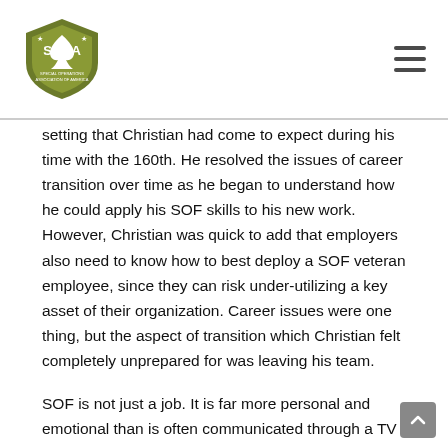SOAA Special Operations Association of America
setting that Christian had come to expect during his time with the 160th. He resolved the issues of career transition over time as he began to understand how he could apply his SOF skills to his new work. However, Christian was quick to add that employers also need to know how to best deploy a SOF veteran employee, since they can risk under-utilizing a key asset of their organization. Career issues were one thing, but the aspect of transition which Christian felt completely unprepared for was leaving his team.
SOF is not just a job. It is far more personal and emotional than is often communicated through a TV screen. The civilian and military worlds often assume a